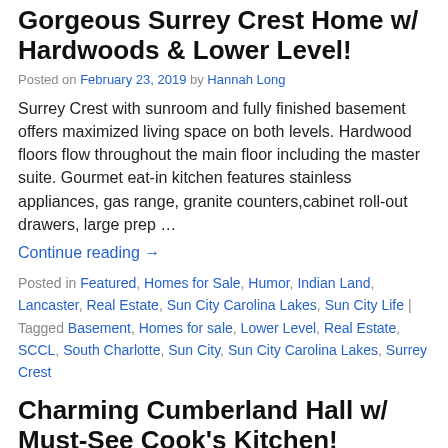Gorgeous Surrey Crest Home w/ Hardwoods & Lower Level!
Posted on February 23, 2019 by Hannah Long
Surrey Crest with sunroom and fully finished basement offers maximized living space on both levels. Hardwood floors flow throughout the main floor including the master suite. Gourmet eat-in kitchen features stainless appliances, gas range, granite counters,cabinet roll-out drawers, large prep …
Continue reading →
Posted in Featured, Homes for Sale, Humor, Indian Land, Lancaster, Real Estate, Sun City Carolina Lakes, Sun City Life | Tagged Basement, Homes for sale, Lower Level, Real Estate, SCCL, South Charlotte, Sun City, Sun City Carolina Lakes, Surrey Crest
Charming Cumberland Hall w/ Must-See Cook's Kitchen!
Posted on February 19, 2019 by Hannah Long